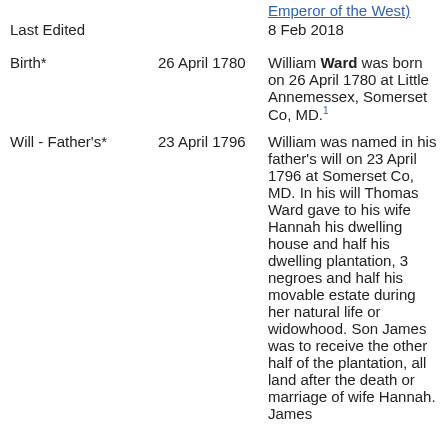Emperor of the West)
Last Edited	8 Feb 2018
Birth*	26 April 1780	William Ward was born on 26 April 1780 at Little Annemessex, Somerset Co, MD.[1]
Will - Father's*	23 April 1796	William was named in his father's will on 23 April 1796 at Somerset Co, MD. In his will Thomas Ward gave to his wife Hannah his dwelling house and half his dwelling plantation, 3 negroes and half his movable estate during her natural life or widowhood. Son James was to receive the other half of the plantation, all land after the death or marriage of wife Hannah. James